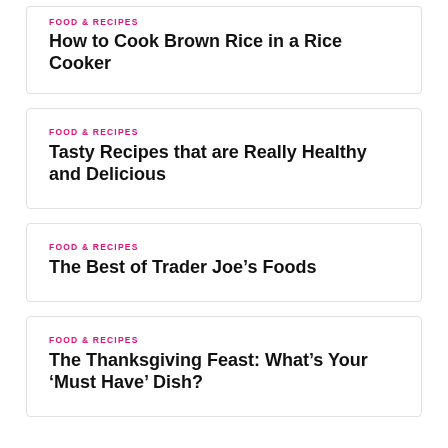FOOD & RECIPES
How to Cook Brown Rice in a Rice Cooker
FOOD & RECIPES
Tasty Recipes that are Really Healthy and Delicious
FOOD & RECIPES
The Best of Trader Joe’s Foods
FOOD & RECIPES
The Thanksgiving Feast: What’s Your ‘Must Have’ Dish?